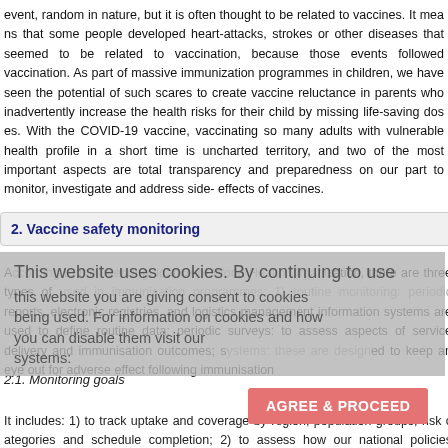event, random in nature, but it is often thought to be related to vaccines. It means that some people developed heart-attacks, strokes or other diseases that seemed to be related to vaccination, simply because those events followed vaccination. As part of massive immunization programmes in children, we have seen the potential of such scares to create vaccine reluctance in parents who inadvertently increase the health risks for their child by missing life-saving doses. With the COVID-19 vaccine, vaccinating so many adults with vulnerable health profile in a short time is uncharted territory, and two of the most important aspects are total transparency and preparedness on our part to monitor, investigate and address side-effects of vaccines.
2. Vaccine safety monitoring
[Figure (screenshot): Cookie consent overlay: 'This website uses cookies. By continuing to use this website you are giving consent to cookies being used. For information on cookies and how you can disable them visit our systems:' with 'AGREE & PROCEED' button]
According to the interim guidance of World Health Organization, there are three types of systems used in immunisation programmes: 1) routine monitoring: periodic reports, electronic registries, and logistics management information systems are used to define routine data; periodic surveys: to assess aspects of service delivery and immunisation outcomes; surveillance systems: these are designed to keep an eye out for adverse effect following immunisation
2.1. Monitoring goals
It includes: 1) to track uptake and coverage by region, population groups, risk categories and schedule completion; 2) to assess how our national policies prioritize at-risk groups for vaccines; requirement for dose, hesitancy, barriers to access, facility-level reports, the situation